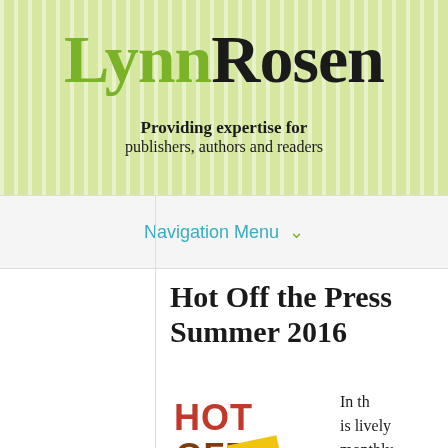LynnRosen
Providing expertise for publishers, authors and readers
Navigation Menu
Hot Off the Press Summer 2016
[Figure (logo): Hot Off the Press logo with red and brown stylized text and a yellow 'the' badge]
In th is lively monthly book di...